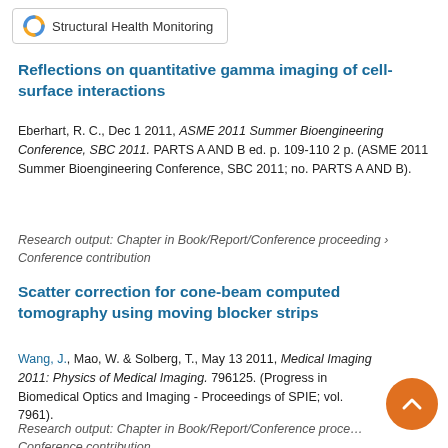Structural Health Monitoring
Reflections on quantitative gamma imaging of cell-surface interactions
Eberhart, R. C., Dec 1 2011, ASME 2011 Summer Bioengineering Conference, SBC 2011. PARTS A AND B ed. p. 109-110 2 p. (ASME 2011 Summer Bioengineering Conference, SBC 2011; no. PARTS A AND B).
Research output: Chapter in Book/Report/Conference proceeding › Conference contribution
Scatter correction for cone-beam computed tomography using moving blocker strips
Wang, J., Mao, W. & Solberg, T., May 13 2011, Medical Imaging 2011: Physics of Medical Imaging. 796125. (Progress in Biomedical Optics and Imaging - Proceedings of SPIE; vol. 7961).
Research output: Chapter in Book/Report/Conference proceeding › Conference contribution